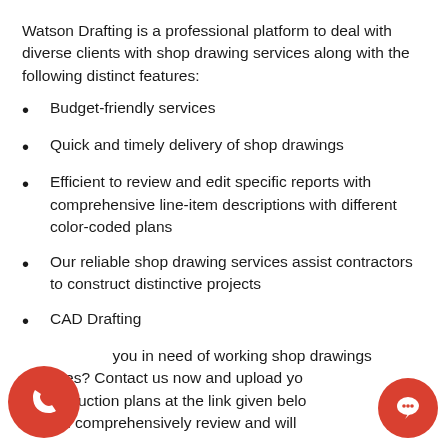Watson Drafting is a professional platform to deal with diverse clients with shop drawing services along with the following distinct features:
Budget-friendly services
Quick and timely delivery of shop drawings
Efficient to review and edit specific reports with comprehensive line-item descriptions with different color-coded plans
Our reliable shop drawing services assist contractors to construct distinctive projects
CAD Drafting
Are you in need of working shop drawings services? Contact us now and upload your construction plans at the link given below. We will comprehensively review and will